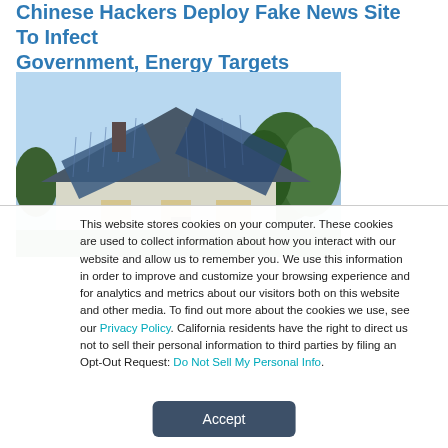Chinese Hackers Deploy Fake News Site To Infect Government, Energy Targets
August 30, 2022
[Figure (photo): House with solar panels on the roof, trees in the background, blue sky]
This website stores cookies on your computer. These cookies are used to collect information about how you interact with our website and allow us to remember you. We use this information in order to improve and customize your browsing experience and for analytics and metrics about our visitors both on this website and other media. To find out more about the cookies we use, see our Privacy Policy. California residents have the right to direct us not to sell their personal information to third parties by filing an Opt-Out Request: Do Not Sell My Personal Info.